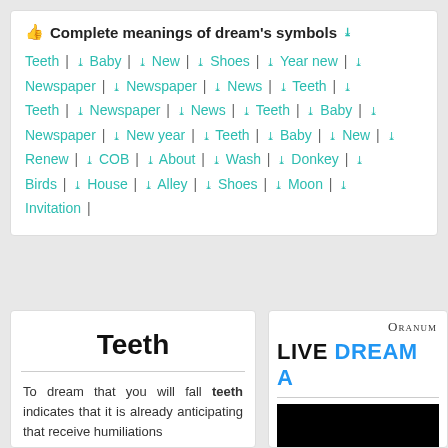Complete meanings of dream's symbols
Teeth | Baby | New | Shoes | Year new | Newspaper | Newspaper | News | Teeth | Teeth | Newspaper | News | Teeth | Baby | Newspaper | New year | Teeth | Baby | New | Renew | COB | About | Wash | Donkey | Birds | House | Alley | Shoes | Moon | Invitation |
Teeth
To dream that you will fall teeth indicates that it is already anticipating that receive humiliations
[Figure (screenshot): Oranum advertisement with LIVE DREAM A text and black image area]